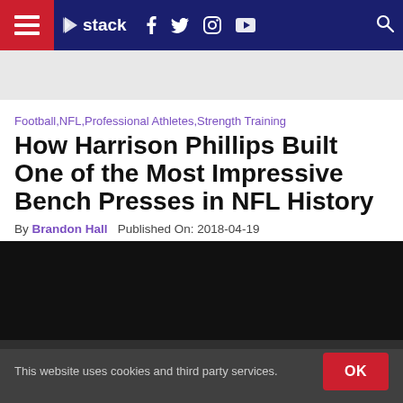stack — navigation bar with hamburger menu, logo, social icons (Facebook, Twitter, Instagram, YouTube), and search
[Figure (other): Advertisement banner placeholder, light grey background]
Football,NFL,Professional Athletes,Strength Training
How Harrison Phillips Built One of the Most Impressive Bench Presses in NFL History
By Brandon Hall  Published On: 2018-04-19
[Figure (other): Dark/black video player area]
This website uses cookies and third party services.